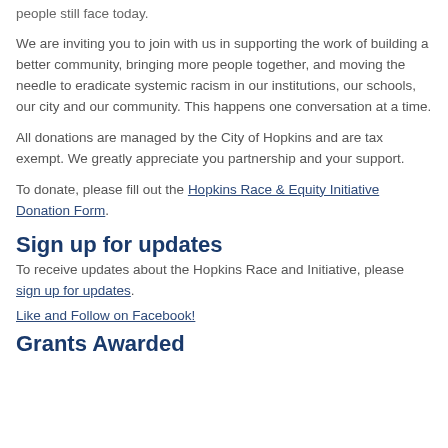people still face today.
We are inviting you to join with us in supporting the work of building a better community, bringing more people together, and moving the needle to eradicate systemic racism in our institutions, our schools, our city and our community. This happens one conversation at a time.
All donations are managed by the City of Hopkins and are tax exempt. We greatly appreciate you partnership and your support.
To donate, please fill out the Hopkins Race & Equity Initiative Donation Form.
Sign up for updates
To receive updates about the Hopkins Race and Initiative, please sign up for updates.
Like and Follow on Facebook!
Grants Awarded